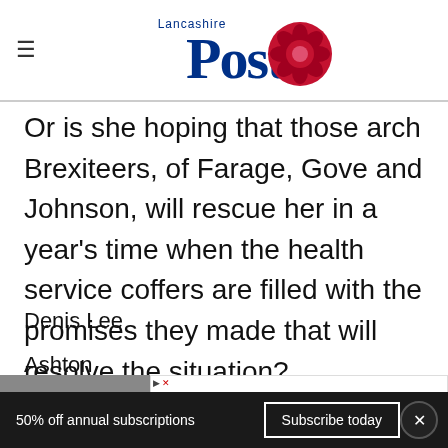Lancashire Post
Or is she hoping that those arch Brexiteers, of Farage, Gove and Johnson, will rescue her in a year's time when the health service coffers are filled with the promises they made that will resolve the situation?
Denis Lee
Ashton
[Figure (other): Walgreens advertisement banner: Ashburn OPEN 8AM-10PM, 20321 Susan Leslie Dr, Ashburn]
50% off annual subscriptions  Subscribe today